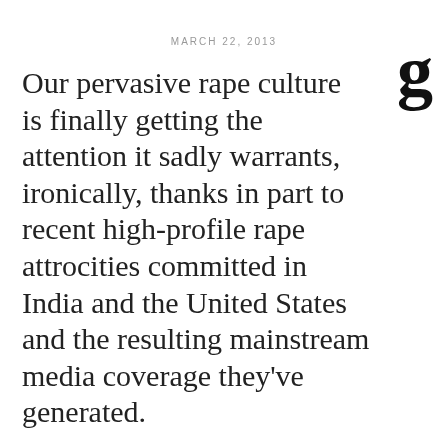g
MARCH 22, 2013
Our pervasive rape culture is finally getting the attention it sadly warrants, ironically, thanks in part to recent high-profile rape attrocities committed in India and the United States and the resulting mainstream media coverage they've generated.
Here are 11 insightful, provocative blog posts written by women (and one man) who believe, as I do, that we need to take a long, hard, self-reflective and serious look at the issue of violence against women and take concrete steps to